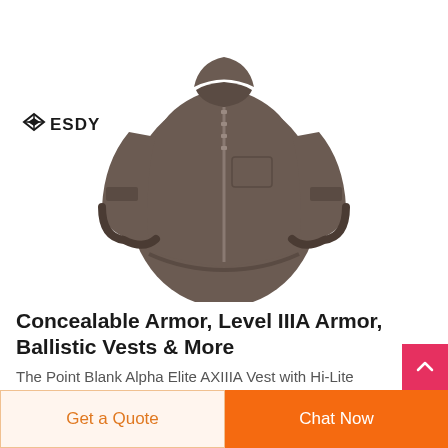[Figure (photo): ESDY brand logo in top-left area above a grey tactical soft-shell jacket displayed on white background]
Concealable Armor, Level IIIA Armor, Ballistic Vests & More
The Point Blank Alpha Elite AXIIIA Vest with Hi-Lite Carrier is an advanced, flexible and lightweight armor